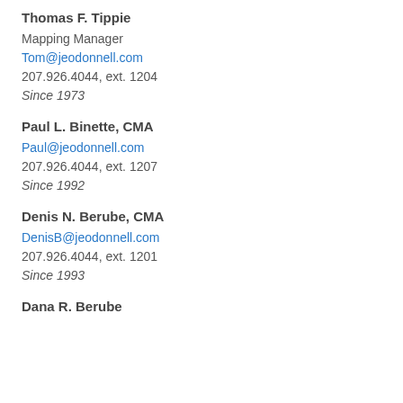Thomas F. Tippie
Mapping Manager
Tom@jeodonnell.com
207.926.4044, ext. 1204
Since 1973
Paul L. Binette, CMA
Paul@jeodonnell.com
207.926.4044, ext. 1207
Since 1992
Denis N. Berube, CMA
DenisB@jeodonnell.com
207.926.4044, ext. 1201
Since 1993
Dana R. Berube